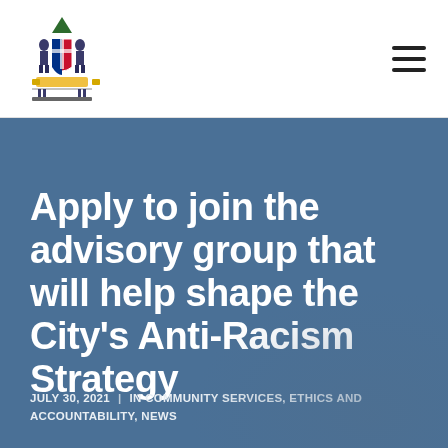[Figure (logo): City coat of arms / municipal crest with figures, shield, and foliage motif]
Apply to join the advisory group that will help shape the City's Anti-Racism Strategy
JULY 30, 2021  |  IN COMMUNITY SERVICES, ETHICS AND ACCOUNTABILITY, NEWS